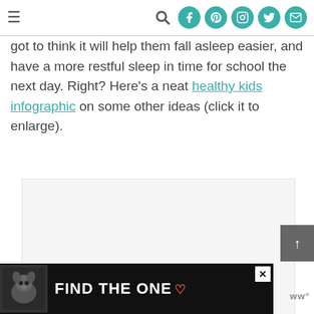Navigation bar with hamburger menu and social icons (search, Facebook, Pinterest, Instagram, Twitter, email)
got to think it will help them fall asleep easier, and have a more restful sleep in time for school the next day. Right? Here’s a neat healthy kids infographic on some other ideas (click it to enlarge).
[Figure (other): Infographic image placeholder (light grey box), with three pagination dots below]
[Figure (other): Advertisement banner: dog photo with text FIND THE ONE and a heart symbol on black background, with a close X button]
ww°